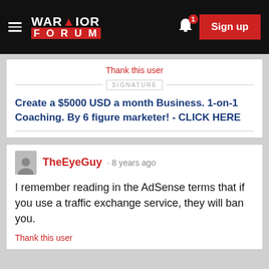Warrior Forum · Sign up
Thank this user
SIGNATURE
Create a $5000 USD a month Business. 1-on-1 Coaching. By 6 figure marketer! - CLICK HERE
TheEyeGuy · 8 years ago
I remember reading in the AdSense terms that if you use a traffic exchange service, they will ban you.
Thank this user